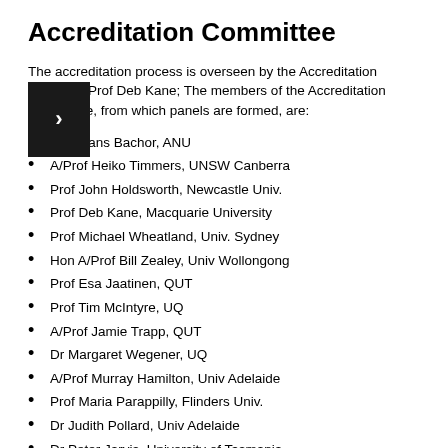Accreditation Committee
The accreditation process is overseen by the Accreditation Manager, Prof Deb Kane; The members of the Accreditation Committee, from which panels are formed, are:
Prof Hans Bachor, ANU
A/Prof Heiko Timmers, UNSW Canberra
Prof John Holdsworth, Newcastle Univ.
Prof Deb Kane, Macquarie University
Prof Michael Wheatland, Univ. Sydney
Hon A/Prof Bill Zealey, Univ Wollongong
Prof Esa Jaatinen, QUT
Prof Tim McIntyre, UQ
A/Prof Jamie Trapp, QUT
Dr Margaret Wegener, UQ
A/Prof Murray Hamilton, Univ Adelaide
Prof Maria Parappilly, Flinders Univ.
Dr Judith Pollard, Univ Adelaide
Dr Peter Jarvis, University of Tasmania
Prof Stephen Collins, Victoria University